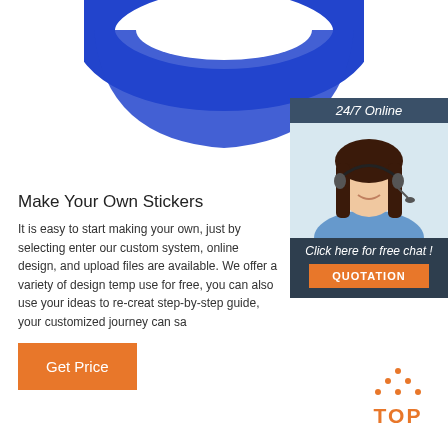[Figure (photo): Blue rubber wristband/ring shown from above, partially cropped at top of page]
[Figure (photo): 24/7 Online customer service widget showing a woman wearing a headset, with 'Click here for free chat!' text and an orange QUOTATION button]
Make Your Own Stickers
It is easy to start making your own, just by selecting enter our custom system, online design, and upload files are available. We offer a variety of design temp use for free, you can also use your ideas to re-creat step-by-step guide, your customized journey can sa
[Figure (other): Orange 'Get Price' button]
[Figure (other): Orange 'TOP' back-to-top button with dotted triangle]